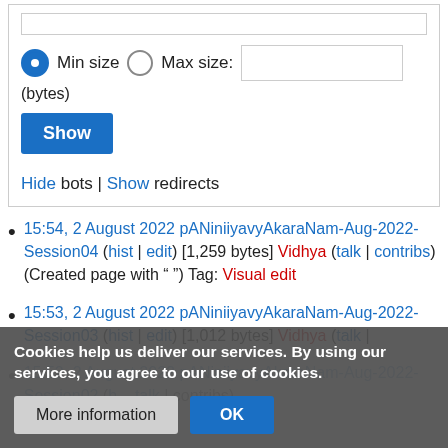[Figure (screenshot): Filter form with radio buttons for Min size / Max size, a text input for size in bytes, a Show button, and Hide bots | Show redirects links]
15:54, 2 August 2022 pANiniiyavyAkaraNam-Aug-2022-Session04 (hist | edit) [1,259 bytes] Vidhya (talk | contribs) (Created page with " ") Tag: Visual edit
15:53, 2 August 2022 pANiniiyavyAkaraNam-Aug-2022-Session03 (hist | edit) [1,012 bytes] Vidhya (talk | contribs)
15:52, 2 August 2022 pANiniiyavyAkaraNam-Aug-2022-Session02 (h... | contribs) (Created page with "") Tag: Visual edit
Cookies help us deliver our services. By using our services, you agree to our use of cookies.